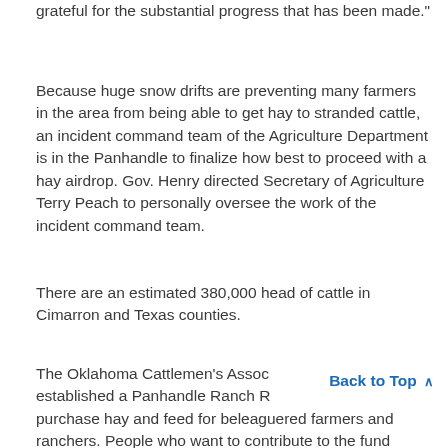grateful for the substantial progress that has been made."
Because huge snow drifts are preventing many farmers in the area from being able to get hay to stranded cattle, an incident command team of the Agriculture Department is in the Panhandle to finalize how best to proceed with a hay airdrop. Gov. Henry directed Secretary of Agriculture Terry Peach to personally oversee the work of the incident command team.
There are an estimated 380,000 head of cattle in Cimarron and Texas counties.
The Oklahoma Cattlemen's Association has established a Panhandle Ranch Rescue Fund to help purchase hay and feed for beleaguered farmers and ranchers. People who want to contribute to the fund
Back to Top ^